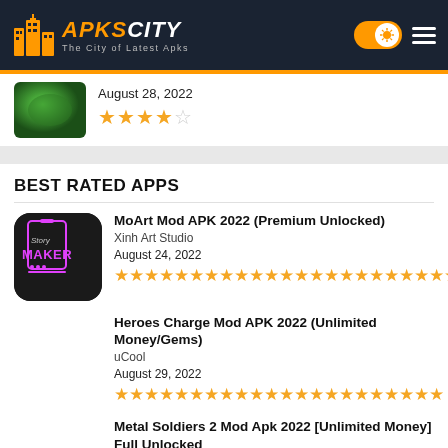APKsCITY – The City of Latest Apks
[Figure (screenshot): Partial app listing thumbnail with green dollar background, date August 28 2022, and 4.5 star rating]
BEST RATED APPS
[Figure (screenshot): MoArt Story Maker app icon – dark background with pink/orange neon Story Maker text]
MoArt Mod APK 2022 (Premium Unlocked)
Xinh Art Studio
August 24, 2022
★★★★★ (many stars)
Heroes Charge Mod APK 2022 (Unlimited Money/Gems)
uCool
August 29, 2022
★★★★★ (many stars)
Metal Soldiers 2 Mod Apk 2022 [Unlimited Money] Full Unlocked